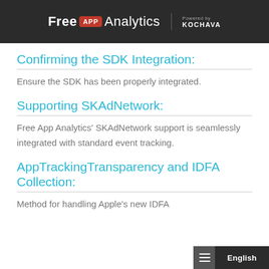Free APP Analytics — Powered by KOCHAVA
Confirming the SDK Integration:
Ensure the SDK has been properly integrated.
Supporting SKAdNetwork:
Free App Analytics' SKAdNetwork support is seamlessly integrated with standard event tracking.
AppTrackingTransparency and IDFA Collection:
Method for handling Apple's new IDFA